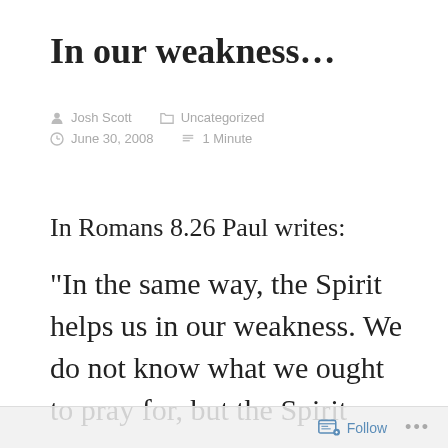In our weakness…
Josh Scott   Uncategorized
June 30, 2008   1 Minute
In Romans 8.26 Paul writes:
“In the same way, the Spirit helps us in our weakness. We do not know what we ought to pray for, but the Spirit
Follow ...